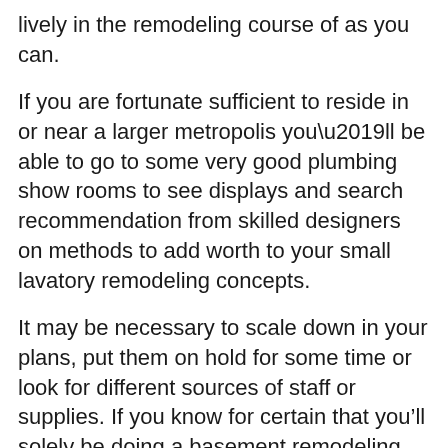lively in the remodeling course of as you can.
If you are fortunate sufficient to reside in or near a larger metropolis you’ll be able to go to some very good plumbing show rooms to see displays and search recommendation from skilled designers on methods to add worth to your small lavatory remodeling concepts.
It may be necessary to scale down in your plans, put them on hold for some time or look for different sources of staff or supplies. If you know for certain that you’ll solely be doing a basement remodeling venture this winter – perhaps you may hire a couple of those certain tools that you’ll want to do tough jobs.
Plan on being required to add both smoke and carbon monoxide detectors to any significant remodeling or addition mission. There are several places to start to think about and plan a remodeling project. Although it’s easy to come up with the concepts, knowledgeable contractor is really helpful for